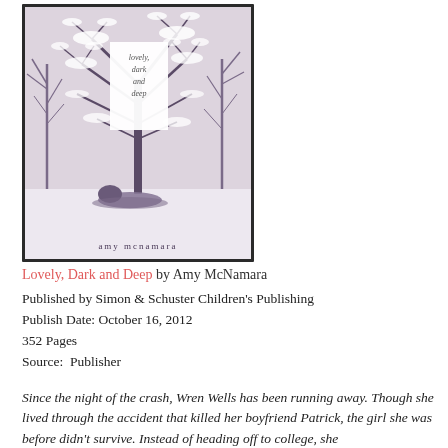[Figure (illustration): Book cover of 'Lovely, Dark and Deep' by Amy McNamara. Shows a winter scene with snow-covered trees and a figure on the ground. Title text in a white rectangle in the center, author name at the bottom.]
Lovely, Dark and Deep by Amy McNamara
Published by Simon & Schuster Children's Publishing
Publish Date: October 16, 2012
352 Pages
Source:  Publisher
Since the night of the crash, Wren Wells has been running away. Though she lived through the accident that killed her boyfriend Patrick, the girl she was before didn't survive. Instead of heading off to college...